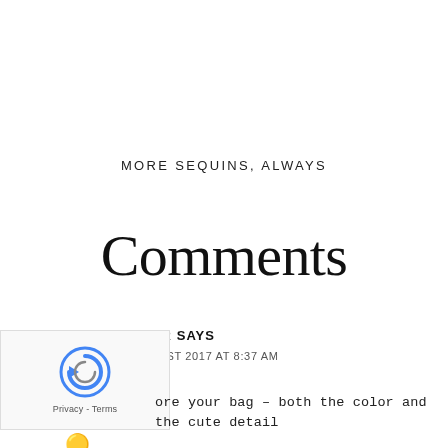MORE SEQUINS, ALWAYS
Comments
MAJA HARDER SAYS
UGUST 2017 AT 8:37 AM
ore your bag – both the color and the cute detail